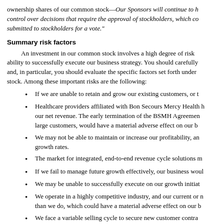ownership shares of our common stock—Our Sponsors will continue to have control over decisions that require the approval of stockholders, which could be submitted to stockholders for a vote."
Summary risk factors
An investment in our common stock involves a high degree of risk, including the ability to successfully execute our business strategy. You should carefully consider and, in particular, you should evaluate the specific factors set forth under our stock. Among these important risks are the following:
If we are unable to retain and grow our existing customers, or to
Healthcare providers affiliated with Bon Secours Mercy Health have represented our net revenue. The early termination of the BSMH Agreement, like other large customers, would have a material adverse effect on our b
We may not be able to maintain or increase our profitability, and we may see declining growth rates.
The market for integrated, end-to-end revenue cycle solutions m
If we fail to manage future growth effectively, our business woul
We may be unable to successfully execute on our growth initiat
We operate in a highly competitive industry, and our current or new competitors do more than we do, which could have a material adverse effect on our b
We face a variable selling cycle to secure new customer contracts, and we may lose customer relationships.